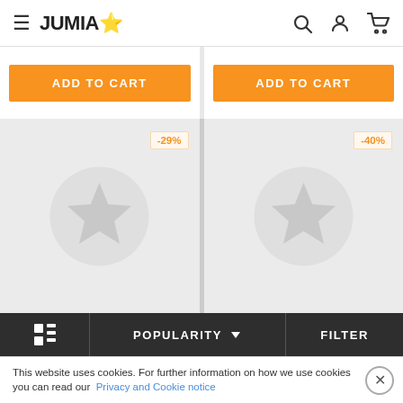JUMIA (star icon) — navigation header with search, account, cart icons
[Figure (screenshot): ADD TO CART orange button in left product card top strip]
[Figure (screenshot): ADD TO CART orange button in right product card top strip]
[Figure (screenshot): Left product card with -29% discount badge and placeholder star image]
[Figure (screenshot): Right product card with -40% discount badge and placeholder star image]
Grid icon | POPULARITY ∨ | FILTER — bottom toolbar
This website uses cookies. For further information on how we use cookies you can read our Privacy and Cookie notice